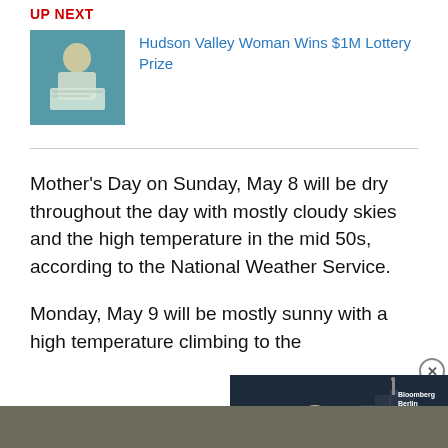UP NEXT
Hudson Valley Woman Wins $1M Lottery Prize
[Figure (photo): Thumbnail photo of a woman holding a lottery prize check in front of a green background]
Mother's Day on Sunday, May 8 will be dry throughout the day with mostly cloudy skies and the high temperature in the mid 50s, according to the National Weather Service.
Monday, May 9 will be mostly sunny with a high temperature climbing to the
[Figure (screenshot): Bloomberg video overlay showing a man in a suit with lower third text reading 'Volker Wissing - German Transport Minister' and headline 'GERMANY SEEKS POWER-MARKET OVERHAUL' with Bloomberg Berlin branding and a play button]